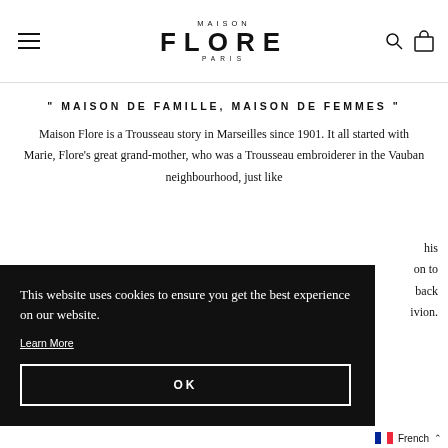MAISON FLORE PARIS
" MAISON DE FAMILLE, MAISON DE FEMMES "
Maison Flore is a Trousseau story in Marseilles since 1901. It all started with Marie, Flore's great grand-mother, who was a Trousseau embroiderer in the Vauban neighbourhood, just like his ... on to back ivion.
This website uses cookies to ensure you get the best experience on our website. Learn More
OK